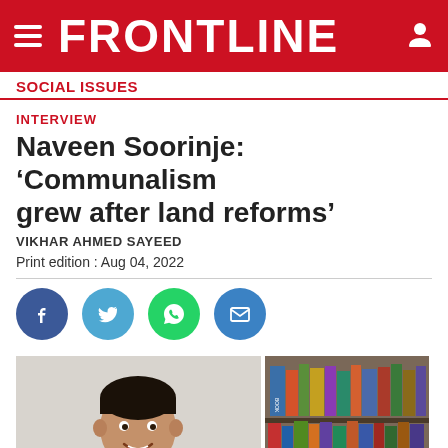FRONTLINE
SOCIAL ISSUES
INTERVIEW
Naveen Soorinje: ‘Communalism grew after land reforms’
VIKHAR AHMED SAYEED
Print edition : Aug 04, 2022
[Figure (photo): Photo of Naveen Soorinje (a man smiling) on the left, and a bookshelf on the right]